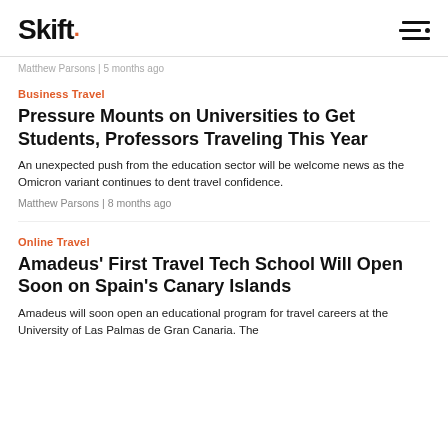Skift
Matthew Parsons | 5 months ago
Business Travel
Pressure Mounts on Universities to Get Students, Professors Traveling This Year
An unexpected push from the education sector will be welcome news as the Omicron variant continues to dent travel confidence.
Matthew Parsons | 8 months ago
Online Travel
Amadeus’ First Travel Tech School Will Open Soon on Spain’s Canary Islands
Amadeus will soon open an educational program for travel careers at the University of Las Palmas de Gran Canaria. The